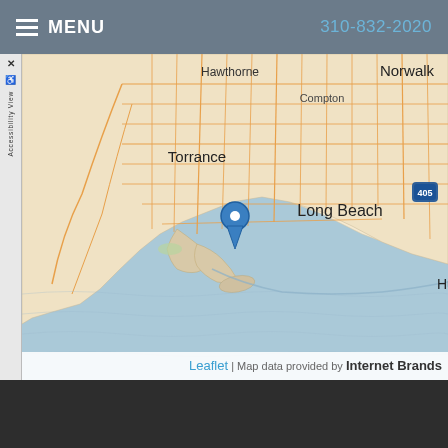≡ MENU   310-832-2020
[Figure (map): Interactive Leaflet map showing the Los Angeles/Long Beach area in Southern California. The map displays street grids in orange/tan over a light background. Key locations labeled include Hawthorne (upper center), Norwalk (upper right), Compton (upper center-right), Torrance (center), Long Beach (center-right), and Hu[ntington Beach] (lower right). A blue location pin marker is placed near the Port of Los Angeles/San Pedro area, southwest of Long Beach. The 405 freeway shield is visible at right. A body of water (Pacific Ocean/San Pedro Bay) occupies the lower portion of the map. Map data provided by Internet Brands.]
Leaflet | Map data provided by Internet Brands